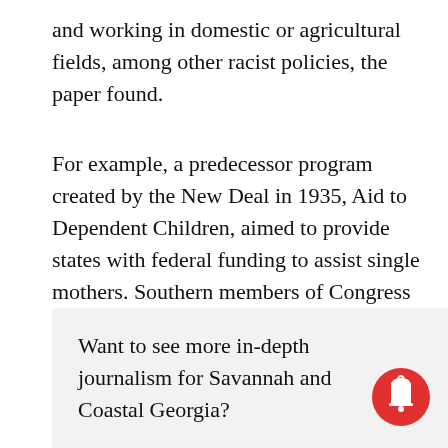and working in domestic or agricultural fields, among other racist policies, the paper found.
For example, a predecessor program created by the New Deal in 1935, Aid to Dependent Children, aimed to provide states with federal funding to assist single mothers. Southern members of Congress pushed to give local and state governments the power to control ADC benefit levels and eligibility, which led to the exclusion of Black women with children.
Want to see more in-depth journalism for Savannah and Coastal Georgia?